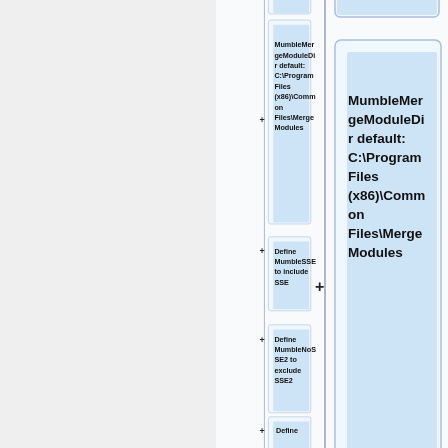[Figure (flowchart): Flowchart showing a sequence of build configuration nodes connected by a vertical line with plus signs. Visible nodes (top to bottom): partial node at top (cropped), 'MumbleMergeModuleDir default: C:\Program Files (x86)\Common Files\Merge Modules', 'Define MumbleSSE to include SSE', 'Define MumbleNoSSE2 to exclude SSE2', and a partial 'Define' node at bottom.]